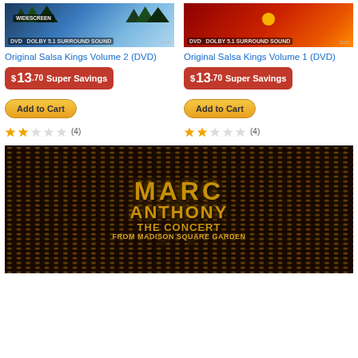[Figure (photo): DVD cover for Original Salsa Kings Volume 2 - widescreen edition with blue/green landscape and DVD logo]
[Figure (photo): DVD cover for Original Salsa Kings Volume 1 - red/orange sunset edition with DVD logo]
Original Salsa Kings Volume 2 (DVD)
Original Salsa Kings Volume 1 (DVD)
$13.70 Super Savings
$13.70 Super Savings
Add to Cart
Add to Cart
(4)
(4)
[Figure (photo): DVD cover for Marc Anthony: The Concert From Madison Square Garden - dark background with gold textured lettering and performer silhouette]